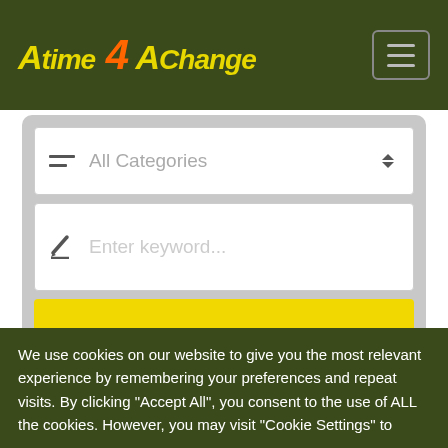ATime 4 AChange
[Figure (screenshot): Category dropdown field with filter icon showing 'All Categories' placeholder text and sort arrows]
[Figure (screenshot): Keyword search input field with pencil icon showing 'Enter keyword...' placeholder text]
[Figure (screenshot): Yellow SEARCH button]
Cart
We use cookies on our website to give you the most relevant experience by remembering your preferences and repeat visits. By clicking "Accept All", you consent to the use of ALL the cookies. However, you may visit "Cookie Settings" to